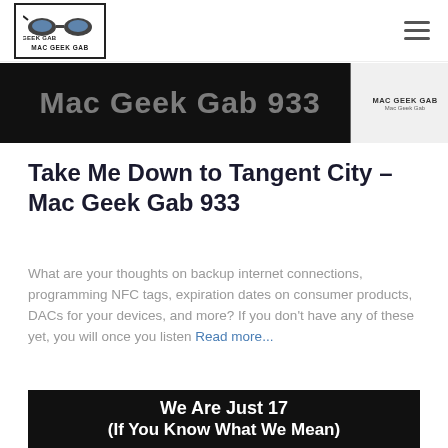MAC GEEK GAB logo and hamburger menu
[Figure (screenshot): Partially visible banner image with dark background showing 'Mac Geek Gab 933' text and MAC GEEK GAB logo on right side]
Take Me Down to Tangent City – Mac Geek Gab 933
What are your thoughts on backup internet connections, programming NFC tags, expiration dates on consumer products, DACs for your devices, and more? If you don't have any of these yet, you will once you listen Read more...
[Figure (screenshot): Bottom banner with dark background showing 'We Are Just 17 (If You Know What We Mean)' in bold white text]